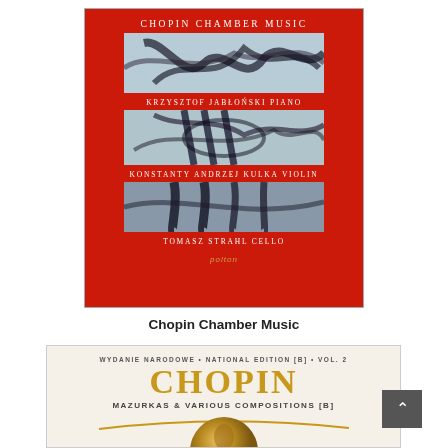[Figure (photo): Album cover for Chopin Chamber Music on red background. Features three photographic panels showing musical instrument details (strings/cello), with artist credits: Krzysztof Jablonski Piano, Konstanty Andrzej Kulka Violin, Tomasz Strahl Cello. Small Polton label logo at bottom.]
Chopin Chamber Music
[Figure (photo): Album cover for Chopin Mazurkas & Various Compositions [B], Wydanie Narodowe / National Edition [B] Vol. 2. Cream/white background with gold 'CHOPIN' text, gold decorative curved line, and partial view of a Chopin portrait medal at bottom center.]